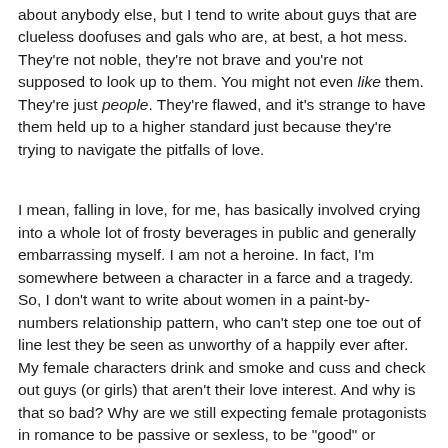about anybody else, but I tend to write about guys that are clueless doofuses and gals who are, at best, a hot mess. They're not noble, they're not brave and you're not supposed to look up to them. You might not even like them. They're just people. They're flawed, and it's strange to have them held up to a higher standard just because they're trying to navigate the pitfalls of love.
I mean, falling in love, for me, has basically involved crying into a whole lot of frosty beverages in public and generally embarrassing myself. I am not a heroine. In fact, I'm somewhere between a character in a farce and a tragedy. So, I don't want to write about women in a paint-by-numbers relationship pattern, who can't step one toe out of line lest they be seen as unworthy of a happily ever after. My female characters drink and smoke and cuss and check out guys (or girls) that aren't their love interest. And why is that so bad? Why are we still expecting female protagonists in romance to be passive or sexless, to be "good" or "saintly" while standing on a pedestal?